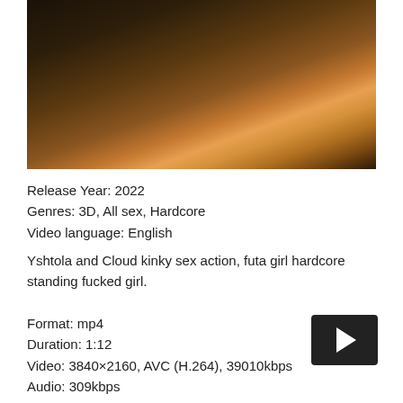[Figure (photo): 3D animated character illustration with dark fantasy background and candles]
Release Year: 2022
Genres: 3D, All sex, Hardcore
Video language: English
Yshtola and Cloud kinky sex action, futa girl hardcore standing fucked girl.
Format: mp4
Duration: 1:12
Video: 3840×2160, AVC (H.264), 39010kbps
Audio: 309kbps